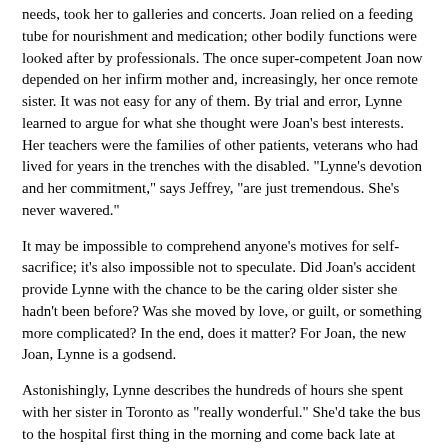needs, took her to galleries and concerts. Joan relied on a feeding tube for nourishment and medication; other bodily functions were looked after by professionals. The once super-competent Joan now depended on her infirm mother and, increasingly, her once remote sister. It was not easy for any of them. By trial and error, Lynne learned to argue for what she thought were Joan's best interests. Her teachers were the families of other patients, veterans who had lived for years in the trenches with the disabled. "Lynne's devotion and her commitment," says Jeffrey, "are just tremendous. She's never wavered."
It may be impossible to comprehend anyone's motives for self-sacrifice; it's also impossible not to speculate. Did Joan's accident provide Lynne with the chance to be the caring older sister she hadn't been before? Was she moved by love, or guilt, or something more complicated? In the end, does it matter? For Joan, the new Joan, Lynne is a godsend.
Astonishingly, Lynne describes the hundreds of hours she spent with her sister in Toronto as "really wonderful." She'd take the bus to the hospital first thing in the morning and come back late at night. Every afternoon, at about 3:30 or so, when Joan was back in bed, they would have "reading hour." This routine continued until February of 1999, when Joan was moved to the Gorge Road Hospital in Victoria, about a half-hour drive from the Hancocks' and not far from where Joan's elderly father now lives.